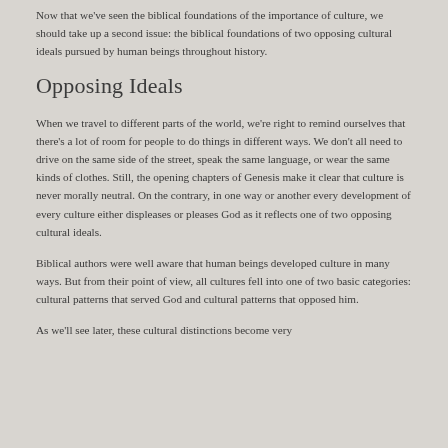Now that we've seen the biblical foundations of the importance of culture, we should take up a second issue: the biblical foundations of two opposing cultural ideals pursued by human beings throughout history.
Opposing Ideals
When we travel to different parts of the world, we're right to remind ourselves that there's a lot of room for people to do things in different ways. We don't all need to drive on the same side of the street, speak the same language, or wear the same kinds of clothes. Still, the opening chapters of Genesis make it clear that culture is never morally neutral. On the contrary, in one way or another every development of every culture either displeases or pleases God as it reflects one of two opposing cultural ideals.
Biblical authors were well aware that human beings developed culture in many ways. But from their point of view, all cultures fell into one of two basic categories: cultural patterns that served God and cultural patterns that opposed him.
As we'll see later, these cultural distinctions become very